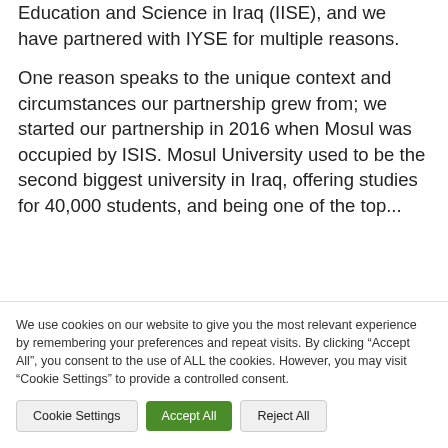Education and Science in Iraq (IISE), and we have partnered with IYSE for multiple reasons.
One reason speaks to the unique context and circumstances our partnership grew from; we started our partnership in 2016 when Mosul was occupied by ISIS. Mosul University used to be the second biggest university in Iraq, offering studies for 40,000 students, and being one of the top...
We use cookies on our website to give you the most relevant experience by remembering your preferences and repeat visits. By clicking "Accept All", you consent to the use of ALL the cookies. However, you may visit "Cookie Settings" to provide a controlled consent.